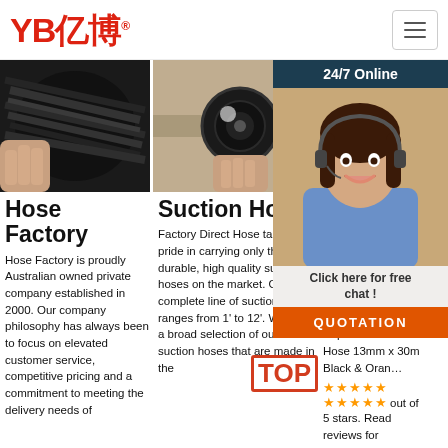[Figure (logo): YB亿博 logo in red with registered trademark symbol]
[Figure (photo): Three product images: hose bundle in dark background, hose connector close-up, partial third product image]
Hose Factory
Hose Factory is proudly Australian owned private company established in 2000. Our company philosophy has always been to focus on elevated customer service, competitive pricing and a commitment to meeting the delivery needs of
Suction Hose
Factory Direct Hose takes pride in carrying only the most durable, high quality suction hoses on the market. Our complete line of suction hose ranges from 1' to 12'. We have a broad selection of our water suction hoses that are made in the
Ho
SKU . 98 free 13. sto Ga Super 22A Suction Hose 13mm x 30m Black & Oran…
[Figure (infographic): Customer service chat widget showing 24/7 Online banner, female agent with headset, Click here for free chat! text, and QUOTATION orange button]
★★★★★ ★★★★★ out of 5 stars. Read reviews for Premium